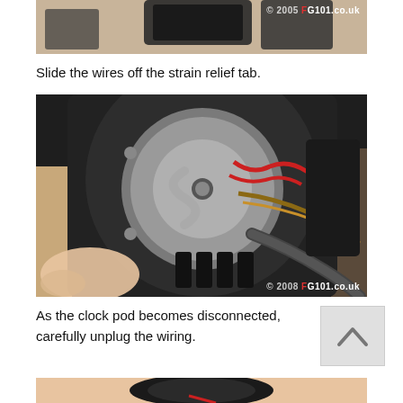[Figure (photo): Top portion of a partial photo showing car interior parts on a wooden surface with © 2008 FG101.co.uk watermark]
Slide the wires off the strain relief tab.
[Figure (photo): Close-up photo of a clock pod being disconnected, showing internal wiring mechanism with red and brown wires, held in a person's hand. © 2008 FG101.co.uk watermark.]
As the clock pod becomes disconnected, carefully unplug the wiring.
[Figure (photo): Bottom partial photo showing the next step of the disconnection process]